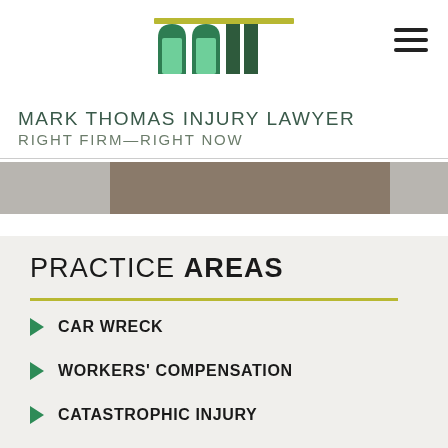[Figure (logo): Mark Thomas Injury Lawyer logo — stylized green arch/pillar mark above firm name text]
MARK THOMAS INJURY LAWYER
RIGHT FIRM—RIGHT NOW
[Figure (photo): Partial photo strip — blurred background scene]
PRACTICE AREAS
CAR WRECK
WORKERS' COMPENSATION
CATASTROPHIC INJURY